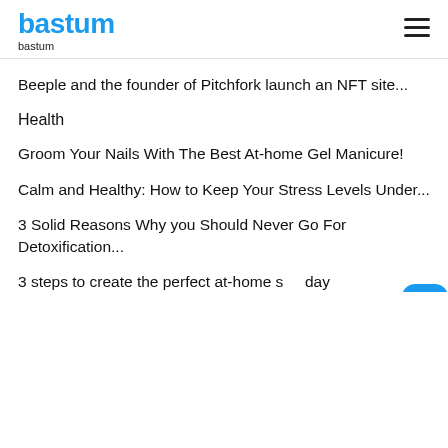bastum
bastum
Beeple and the founder of Pitchfork launch an NFT site...
Health
Groom Your Nails With The Best At-home Gel Manicure!
Calm and Healthy: How to Keep Your Stress Levels Under...
3 Solid Reasons Why you Should Never Go For Detoxification...
3 steps to create the perfect at-home spa day